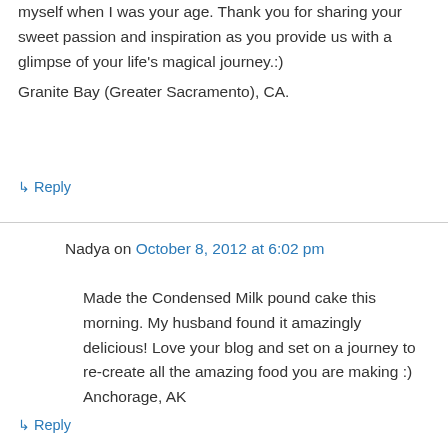myself when I was your age. Thank you for sharing your sweet passion and inspiration as you provide us with a glimpse of your life's magical journey.:)
Granite Bay (Greater Sacramento), CA.
↳ Reply
Nadya on October 8, 2012 at 6:02 pm
Made the Condensed Milk pound cake this morning. My husband found it amazingly delicious! Love your blog and set on a journey to re-create all the amazing food you are making :) Anchorage, AK
↳ Reply